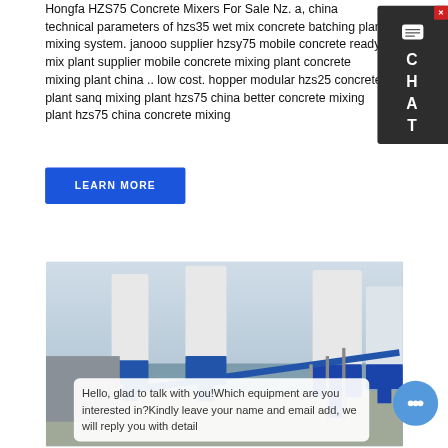Hongfa HZS75 Concrete Mixers For Sale Nz. a, china technical parameters of hzs35 wet mix concrete batching plant mixing system. janooo supplier hzsy75 mobile concrete ready mix plant supplier mobile concrete mixing plant concrete mixing plant china .. low cost. hopper modular hzs25 concrete plant sanq mixing plant hzs75 china better concrete mixing plant hzs75 china concrete mixing
[Figure (other): Blue learn more button]
[Figure (other): Chat panel on right side with CHAT text]
[Figure (photo): Industrial concrete batching plant with blue and white silos and conveyor equipment]
Hello, glad to talk with you!Which equipment are you interested in?Kindly leave your name and email add, we will reply you with detail